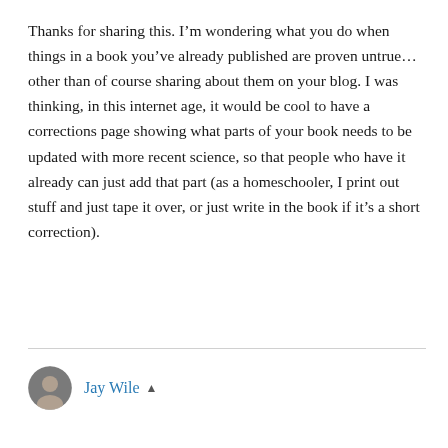Thanks for sharing this. I'm wondering what you do when things in a book you've already published are proven untrue…other than of course sharing about them on your blog. I was thinking, in this internet age, it would be cool to have a corrections page showing what parts of your book needs to be updated with more recent science, so that people who have it already can just add that part (as a homeschooler, I print out stuff and just tape it over, or just write in the book if it's a short correction).
Jay Wile ▲